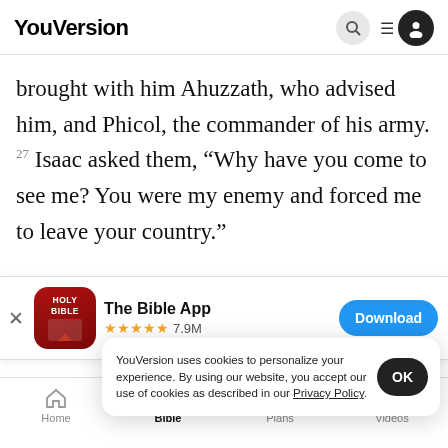YouVersion
brought with him Ahuzzath, who advised him, and Phicol, the commander of his army. 27 Isaac asked them, “Why have you come to see me? You were my enemy and forced me to leave your country.”
[Figure (screenshot): App store banner for The Bible App with Holy Bible icon, 5 stars, 7.9M ratings, and a Download button]
us mak
did not
YouVersion uses cookies to personalize your experience. By using our website, you accept our use of cookies as described in our Privacy Policy.
Home  Bible  Plans  Videos